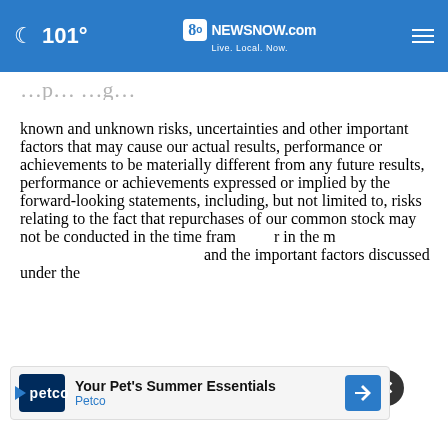101° 8NewsNow.com Live. Local. Now.
known and unknown risks, uncertainties and other important factors that may cause our actual results, performance or achievements to be materially different from any future results, performance or achievements expressed or implied by the forward-looking statements, including, but not limited to, risks relating to the fact that repurchases of our common stock may not be conducted in the time frame or in the manner anticipated, and the important factors discussed under the
[Figure (screenshot): Petco ad banner: 'Your Pet's Summer Essentials' sponsored by Petco, with navigation arrow icon and close button]